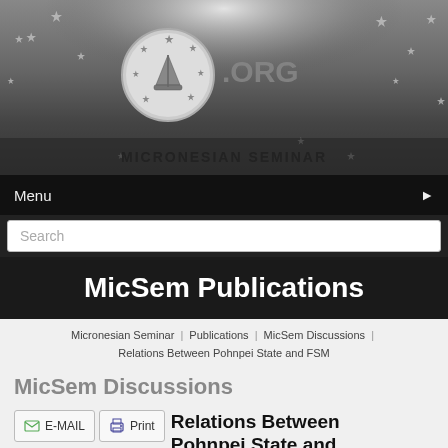[Figure (logo): Micronesian Seminar website header banner with logo circle containing a sailboat, stars in background, and .ORG text]
MICRONESIAN SEMINAR
Menu ▶
Search
MicSem Publications
Micronesian Seminar | Publications | MicSem Discussions | Relations Between Pohnpei State and FSM
MicSem Discussions
E-MAIL  Print  Relations Between Pohnpei State and FSM